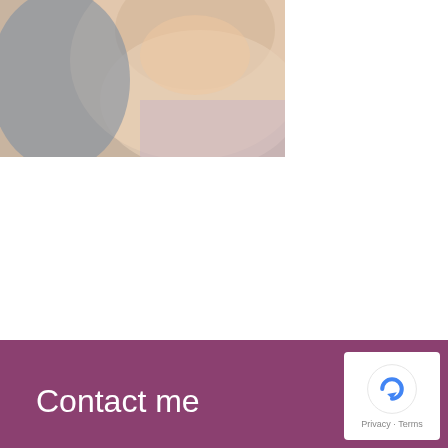[Figure (photo): Close-up photo of a blonde woman's face and neck, partially cropped]
Help your make-up last the day and avoid the shine
18 OCT 2016
Get more from your makeup with these tips and tricks for the ultimate longevity READ MORE
Contact me